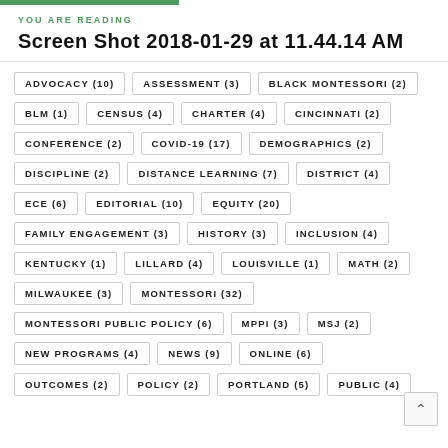YOU ARE READING
Screen Shot 2018-01-29 at 11.44.14 AM
ADVOCACY (10)
ASSESSMENT (3)
BLACK MONTESSORI (2)
BLM (1)
CENSUS (4)
CHARTER (4)
CINCINNATI (2)
CONFERENCE (2)
COVID-19 (17)
DEMOGRAPHICS (2)
DISCIPLINE (2)
DISTANCE LEARNING (7)
DISTRICT (4)
ECE (6)
EDITORIAL (10)
EQUITY (20)
FAMILY ENGAGEMENT (3)
HISTORY (3)
INCLUSION (4)
KENTUCKY (1)
LILLARD (4)
LOUISVILLE (1)
MATH (2)
MILWAUKEE (3)
MONTESSORI (32)
MONTESSORI PUBLIC POLICY (6)
MPPI (3)
MSJ (2)
NEW PROGRAMS (4)
NEWS (9)
ONLINE (6)
OUTCOMES (2)
POLICY (2)
PORTLAND (5)
PUBLIC (4)